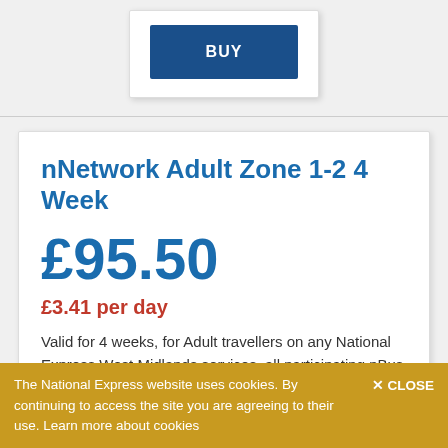[Figure (other): BUY button card — a dark blue rectangular button with white bold text 'BUY' inside a white card with shadow]
nNetwork Adult Zone 1-2 4 Week
£95.50
£3.41 per day
Valid for 4 weeks, for Adult travellers on any National Express West Midlands services, all participating nBus operators and train travel within the specified Network West Midlands rail
The National Express website uses cookies. By continuing to access the site you are agreeing to their use. Learn more about cookies  ✕ CLOSE